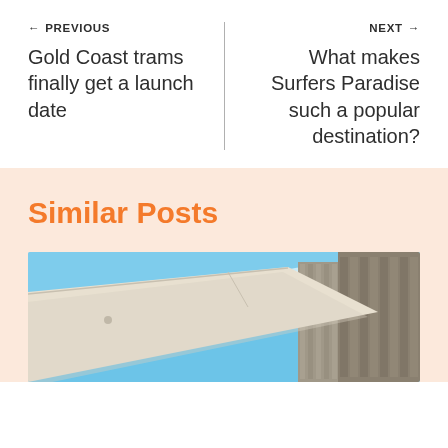← PREVIOUS
Gold Coast trams finally get a launch date
NEXT →
What makes Surfers Paradise such a popular destination?
Similar Posts
[Figure (photo): Exterior architectural photo showing building canopy/awning with blue sky and tall city buildings in the background]